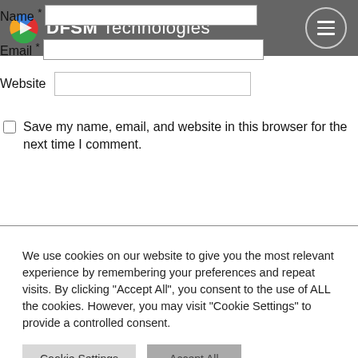Name *
Email *
[Figure (logo): DFSM Technologies logo with colorful play-button icon on dark grey navigation bar with hamburger menu]
Website
Save my name, email, and website in this browser for the next time I comment.
Post Comment
We use cookies on our website to give you the most relevant experience by remembering your preferences and repeat visits. By clicking "Accept All", you consent to the use of ALL the cookies. However, you may visit "Cookie Settings" to provide a controlled consent.
Cookie Settings
Accept All